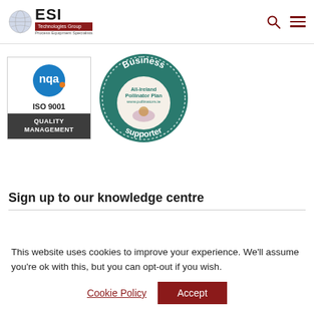ESI Technologies Group – Process Equipment Specialists
[Figure (logo): NQA ISO 9001 Quality Management certification badge with blue circle logo and dark grey footer]
[Figure (logo): All-Ireland Pollinator Plan Business Supporter circular badge in teal with bee and flower illustration]
Sign up to our knowledge centre
This website uses cookies to improve your experience. We'll assume you're ok with this, but you can opt-out if you wish.
Cookie Policy | Accept